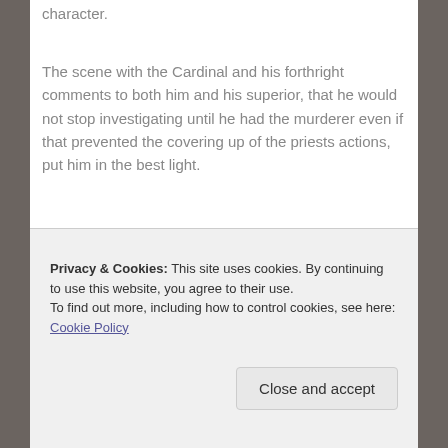character.
The scene with the Cardinal and his forthright comments to both him and his superior, that he would not stop investigating until he had the murderer even if that prevented the covering up of the priests actions, put him in the best light.
Snow is a novel in which there is a detective and a murder used as a vehicle for the author to tell the story of a priest who abused children. With elements, such as the diary section, that make for very dark, very uncomfortable reading
Privacy & Cookies: This site uses cookies. By continuing to use this website, you agree to their use.
To find out more, including how to control cookies, see here: Cookie Policy
Close and accept
where abuse took place.